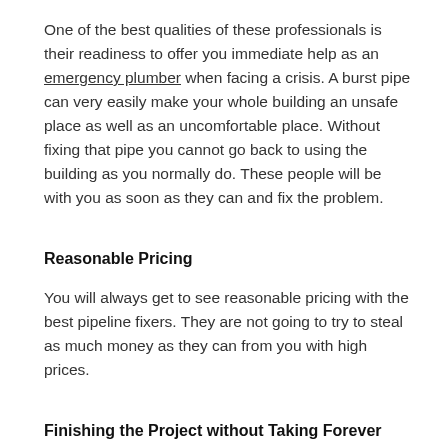One of the best qualities of these professionals is their readiness to offer you immediate help as an emergency plumber when facing a crisis. A burst pipe can very easily make your whole building an unsafe place as well as an uncomfortable place. Without fixing that pipe you cannot go back to using the building as you normally do. These people will be with you as soon as they can and fix the problem.
Reasonable Pricing
You will always get to see reasonable pricing with the best pipeline fixers. They are not going to try to steal as much money as they can from you with high prices.
Finishing the Project without Taking Forever
You can always trust the best ones to finish the project without taking forever. The solutions come when...